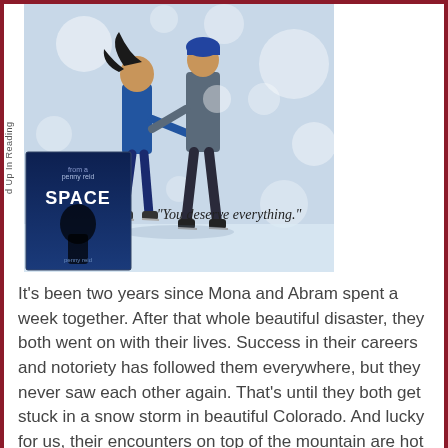[Figure (illustration): Book cover image collage: Two people ice skating holding hands in a snowy scene, with a book cover for 'Space' by Penny Reid overlaid in the lower left, and the text 'You deserve everything.' in cursive. Vertical text on the left reads 'd Up In Reading'.]
It's been two years since Mona and Abram spent a week together. After that whole beautiful disaster, they both went on with their lives. Success in their careers and notoriety has followed them everywhere, but they never saw each other again. That's until they both get stuck in a snow storm in beautiful Colorado. And lucky for us, their encounters on top of the mountain are hot enough to melt even the snow.